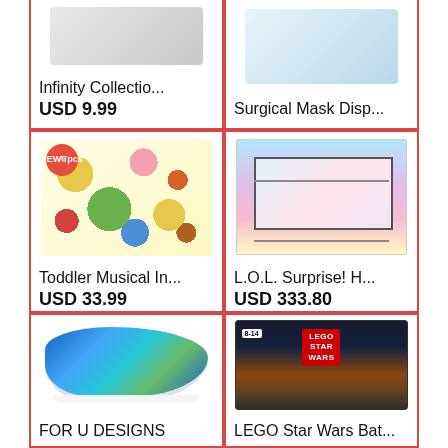[Figure (photo): Infinity Collection product image (partially visible at top)]
Infinity Collectio...
USD 9.99
[Figure (photo): Surgical Mask Disp... product image (partially visible at top)]
Surgical Mask Disp...
(price not shown)
[Figure (photo): Toddler Musical Instruments set - 25 pieces colorful toy instruments with backpack, labeled NEW 25pcs]
Toddler Musical In...
USD 33.99
[Figure (photo): L.O.L. Surprise! House dollhouse playset with multiple floors and rooms]
L.O.L. Surprise! H...
USD 333.80
[Figure (photo): FOR U DESIGNS colorful patterned sneakers/running shoes in blue and green]
FOR U DESIGNS
[Figure (photo): LEGO Star Wars Battle of Scarif set, ages 8-14]
LEGO Star Wars Bat...